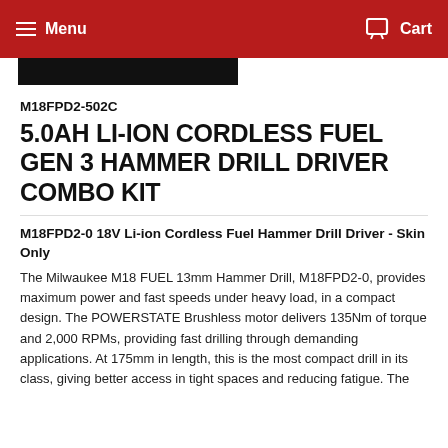Menu   Cart
M18FPD2-502C
5.0AH LI-ION CORDLESS FUEL GEN 3 HAMMER DRILL DRIVER COMBO KIT
M18FPD2-0 18V Li-ion Cordless Fuel Hammer Drill Driver - Skin Only
The Milwaukee M18 FUEL 13mm Hammer Drill, M18FPD2-0, provides maximum power and fast speeds under heavy load, in a compact design. The POWERSTATE Brushless motor delivers 135Nm of torque and 2,000 RPMs, providing fast drilling through demanding applications. At 175mm in length, this is the most compact drill in its class, giving better access in tight spaces and reducing fatigue. The